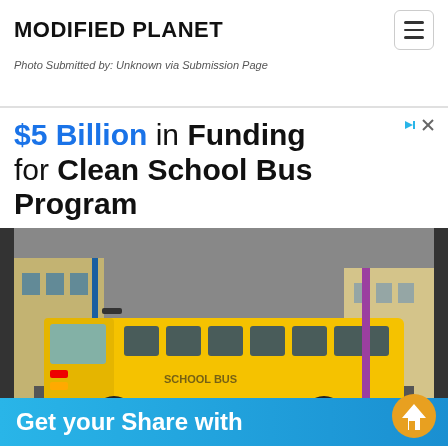MODIFIED PLANET
Photo Submitted by: Unknown via Submission Page
[Figure (infographic): Advertisement for $5 Billion in Funding for Clean School Bus Program, showing a yellow school bus in front of a building, with 'Get your Share with' text on a blue bar at the bottom.]